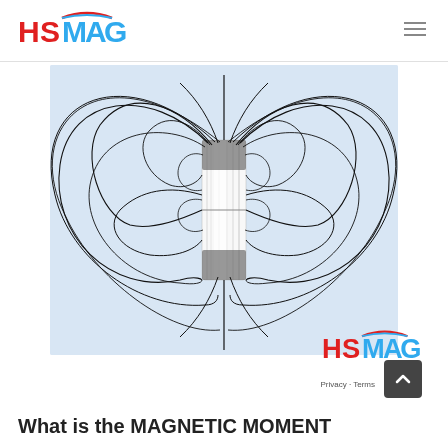HSMAG logo and navigation
[Figure (illustration): Magnetic field lines diagram showing a cylindrical magnet (bar magnet) with field lines emanating from both poles, looping around in characteristic dipole pattern, rendered on a light blue-gray background.]
[Figure (logo): HSMAG logo (second instance, lower right)]
What is the MAGNETIC MOMENT